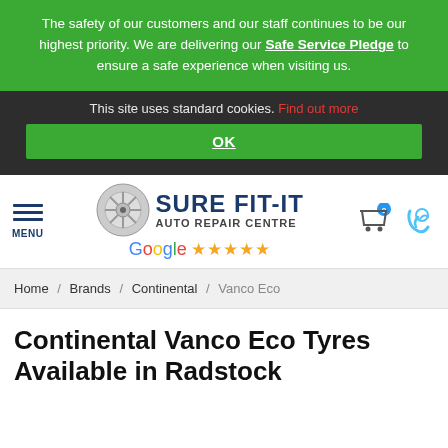The safety of our customers and our staff continues to be our highest priority. We are delivering our Safe Service Pledge to ensure a safe experience when visiting us.
This site uses standard cookies. Find out more
OK
[Figure (logo): Sure Fit-It Auto Repair Centre logo with wheel graphic and Google 5-star rating]
Home / Brands / Continental / Vanco Eco
Continental Vanco Eco Tyres Available in Radstock